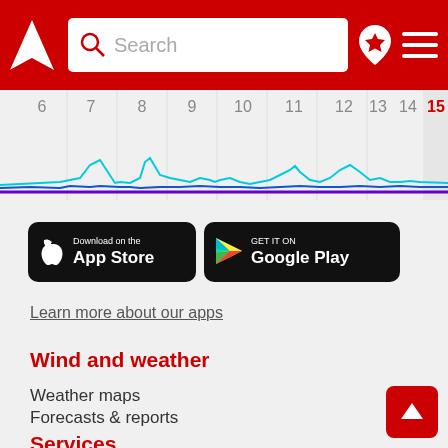Search
[Figure (continuous-plot): Timeline chart showing wind/weather data from day 6 to day 15, with blue and purple wave lines across the bottom and small cyan peaks]
[Figure (logo): Download on the App Store button (black rounded rectangle)]
[Figure (logo): Get it on Google Play button (black rounded rectangle)]
Learn more about our apps
Wind and weather
Weather maps
Forecasts & reports
Most visited spots
Locations
Services